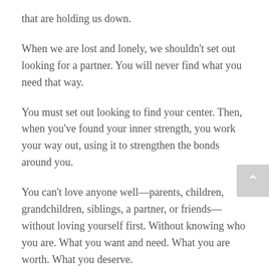that are holding us down.
When we are lost and lonely, we shouldn't set out looking for a partner. You will never find what you need that way.
You must set out looking to find your center. Then, when you've found your inner strength, you work your way out, using it to strengthen the bonds around you.
You can't love anyone well—parents, children, grandchildren, siblings, a partner, or friends—without loving yourself first. Without knowing who you are. What you want and need. What you are worth. What you deserve.
This books tells the story of how I learned these